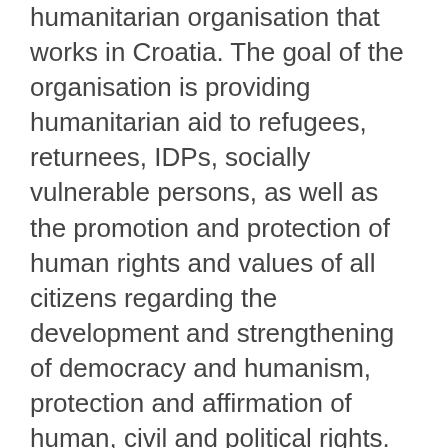humanitarian organisation that works in Croatia. The goal of the organisation is providing humanitarian aid to refugees, returnees, IDPs, socially vulnerable persons, as well as the promotion and protection of human rights and values of all citizens regarding the development and strengthening of democracy and humanism, protection and affirmation of human, civil and political rights.
We use cookies on this site to enhance user experience. By clicking Accept, you agree to us doing so.